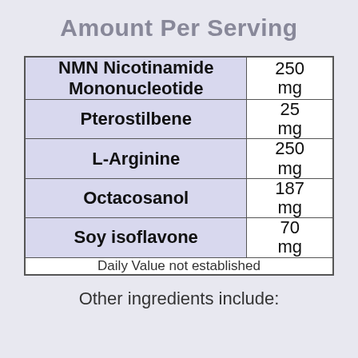Amount Per Serving
| Ingredient | Amount |
| --- | --- |
| NMN Nicotinamide Mononucleotide | 250 mg |
| Pterostilbene | 25 mg |
| L-Arginine | 250 mg |
| Octacosanol | 187 mg |
| Soy isoflavone | 70 mg |
| Daily Value not established |  |
Other ingredients include: